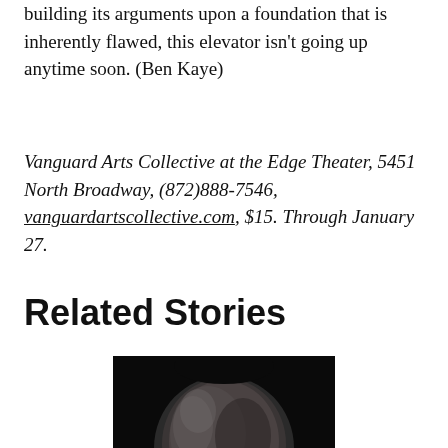building its arguments upon a foundation that is inherently flawed, this elevator isn't going up anytime soon. (Ben Kaye)
Vanguard Arts Collective at the Edge Theater, 5451 North Broadway, (872)888-7546, vanguardartscollective.com, $15. Through January 27.
Related Stories
[Figure (photo): A dark, moody black and white photo showing a bald human head/skull against a black background, partially visible at the bottom of the page.]